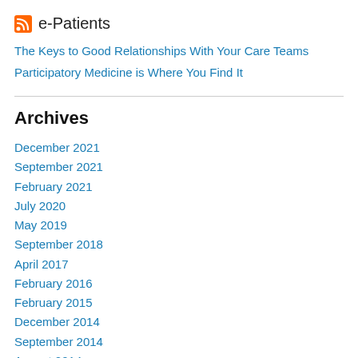e-Patients
The Keys to Good Relationships With Your Care Teams
Participatory Medicine is Where You Find It
Archives
December 2021
September 2021
February 2021
July 2020
May 2019
September 2018
April 2017
February 2016
February 2015
December 2014
September 2014
August 2014